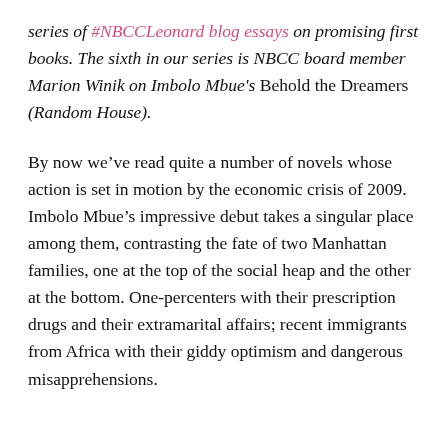series of #NBCCLeonard blog essays on promising first books. The sixth in our series is NBCC board member Marion Winik on Imbolo Mbue's Behold the Dreamers (Random House).
By now we’ve read quite a number of novels whose action is set in motion by the economic crisis of 2009. Imbolo Mbue’s impressive debut takes a singular place among them, contrasting the fate of two Manhattan families, one at the top of the social heap and the other at the bottom. One-percenters with their prescription drugs and their extramarital affairs; recent immigrants from Africa with their giddy optimism and dangerous misapprehensions.